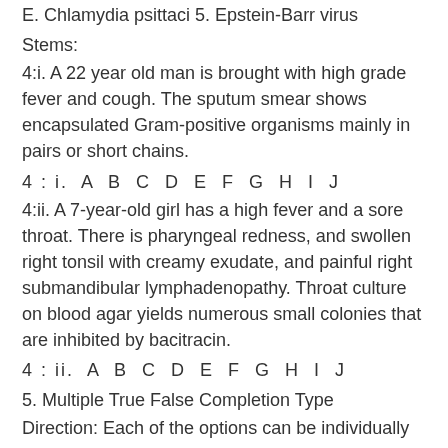E. Chlamydia psittaci 5. Epstein-Barr virus
Stems:
4:i. A 22 year old man is brought with high grade fever and cough. The sputum smear shows encapsulated Gram-positive organisms mainly in pairs or short chains.
4 : i. A B C D E F G H I J
4:ii. A 7-year-old girl has a high fever and a sore throat. There is pharyngeal redness, and swollen right tonsil with creamy exudate, and painful right submandibular lymphadenopathy. Throat culture on blood agar yields numerous small colonies that are inhibited by bacitracin.
4 : ii. A B C D E F G H I J
5. Multiple True False Completion Type
Direction: Each of the options can be individually true or false and are not interdependent..
Blacken the appropriate box which has the correct